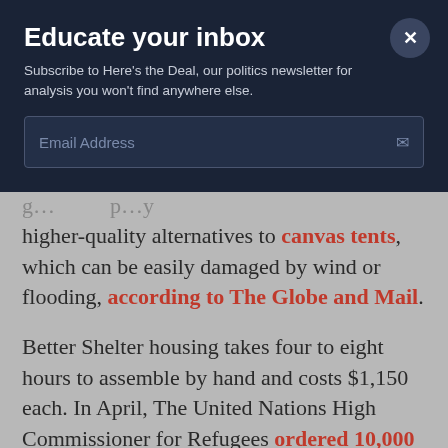Educate your inbox
Subscribe to Here's the Deal, our politics newsletter for analysis you won't find anywhere else.
Email Address
higher-quality alternatives to canvas tents, which can be easily damaged by wind or flooding, according to The Globe and Mail.
Better Shelter housing takes four to eight hours to assemble by hand and costs $1,150 each. In April, The United Nations High Commissioner for Refugees ordered 10,000 of the tents, and the project has delivered more than 4,700 shelters this year, including 2,600 to